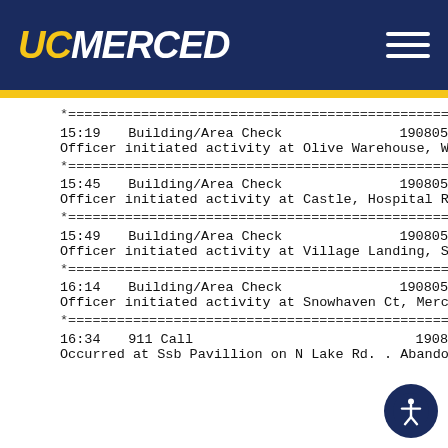UC MERCED
15:19   Building/Area Check   1908051
Officer initiated activity at Olive Warehouse, W Olive Av
15:45   Building/Area Check   1908051
Officer initiated activity at Castle, Hospital Rd, Atwater.
15:49   Building/Area Check   1908051
Officer initiated activity at Village Landing, San Jose Av,
16:14   Building/Area Check   1908051
Officer initiated activity at Snowhaven Ct, Merced. . Disp
16:34   911 Call   19080514
Occurred at Ssb Pavillion on N Lake Rd. .  Abandoned c